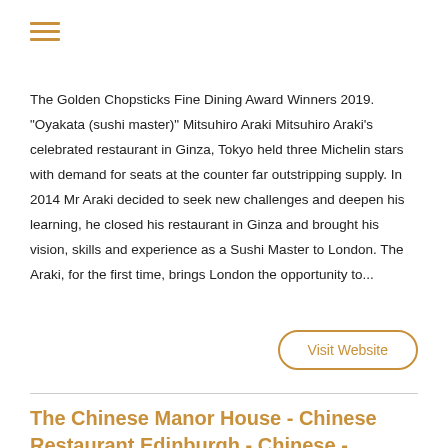[Figure (other): Hamburger menu icon with three horizontal lines in golden/amber color]
The Golden Chopsticks Fine Dining Award Winners 2019. "Oyakata (sushi master)" Mitsuhiro Araki Mitsuhiro Araki's celebrated restaurant in Ginza, Tokyo held three Michelin stars with demand for seats at the counter far outstripping supply. In 2014 Mr Araki decided to seek new challenges and deepen his learning, he closed his restaurant in Ginza and brought his vision, skills and experience as a Sushi Master to London. The Araki, for the first time, brings London the opportunity to...
Visit Website
The Chinese Manor House - Chinese Restaurant Edinburgh - Chinese - Edinburgh